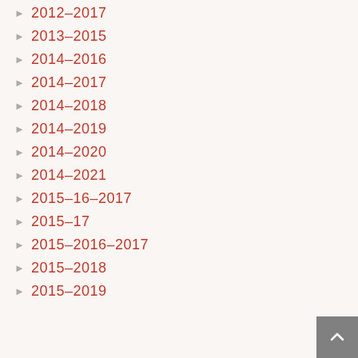2012–2017
2013–2015
2014–2016
2014–2017
2014–2018
2014–2019
2014–2020
2014–2021
2015–16–2017
2015–17
2015–2016–2017
2015–2018
2015–2019